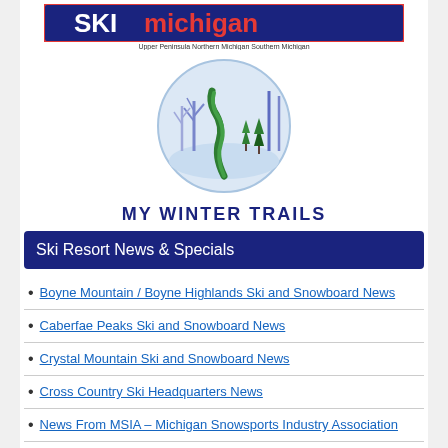[Figure (logo): Ski Michigan logo banner with text 'Upper Peninsula  Northern Michigan  Southern Michigan']
[Figure (illustration): Circular winter trails illustration showing snow-covered trees and a winding trail, labeled MY WINTER TRAILS]
MY WINTER TRAILS
Ski Resort News & Specials
Boyne Mountain / Boyne Highlands Ski and Snowboard News
Caberfae Peaks Ski and Snowboard News
Crystal Mountain Ski and Snowboard News
Cross Country Ski Headquarters News
News From MSIA – Michigan Snowsports Industry Association
Sleeping Bear Dunes – Skiing, Snowshoeing & Winter